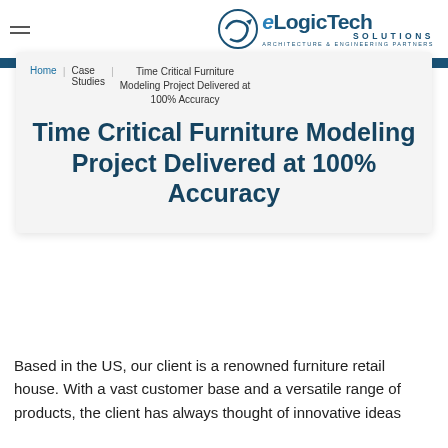eLogicTech SOLUTIONS ARCHITECTURE & ENGINEERING PARTNERS
Home | Case Studies | Time Critical Furniture Modeling Project Delivered at 100% Accuracy
Time Critical Furniture Modeling Project Delivered at 100% Accuracy
Based in the US, our client is a renowned furniture retail house. With a vast customer base and a versatile range of products, the client has always thought of innovative ideas